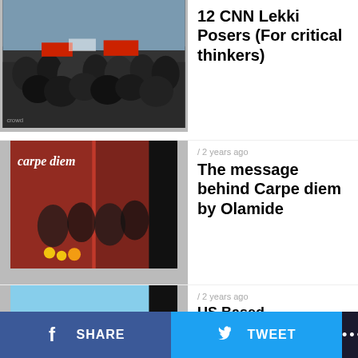[Figure (photo): Crowd of protesters at Lekki]
12 CNN Lekki Posers (For critical thinkers)
[Figure (photo): Carpe diem album art by Olamide]
/ 2 years ago
The message behind Carpe diem by Olamide
[Figure (photo): Group of people outside a house in Nashville]
/ 2 years ago
US Based Entertainment Magnate, Deji Bello Hosts IwoLand Top Men At His Nashville Home
[Figure (photo): Person in yellow and black outfit in rural setting]
/ 2 years ago
How Fulani herdsmen ruined my farm in Osun State – Babatunde
[Figure (photo): Oluwo of Iwo in traditional attire]
/ 2 years ago
Oluwo Of Iwo's Vehicle Stolen in Lagos
SHARE   TWEET   ...